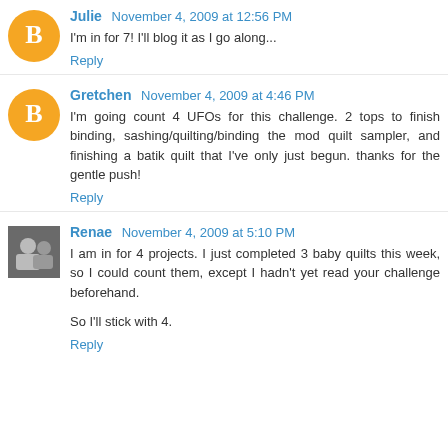Julie  November 4, 2009 at 12:56 PM
I'm in for 7! I'll blog it as I go along...
Reply
Gretchen  November 4, 2009 at 4:46 PM
I'm going count 4 UFOs for this challenge. 2 tops to finish binding, sashing/quilting/binding the mod quilt sampler, and finishing a batik quilt that I've only just begun. thanks for the gentle push!
Reply
Renae  November 4, 2009 at 5:10 PM
I am in for 4 projects. I just completed 3 baby quilts this week, so I could count them, except I hadn't yet read your challenge beforehand.
So I'll stick with 4.
Reply